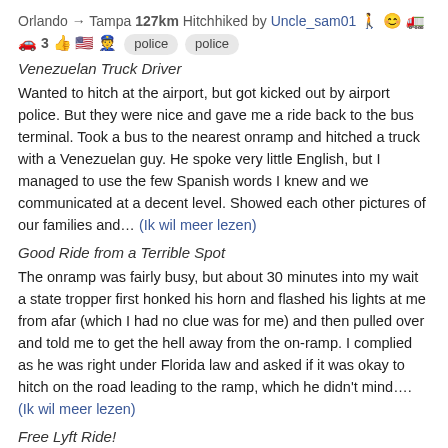Orlando → Tampa 127km Hitchhiked by Uncle_sam01 🚶 😊 🚛 🚗 3 👍 🇺🇸 👮 police police
Venezuelan Truck Driver
Wanted to hitch at the airport, but got kicked out by airport police. But they were nice and gave me a ride back to the bus terminal. Took a bus to the nearest onramp and hitched a truck with a Venezuelan guy. He spoke very little English, but I managed to use the few Spanish words I knew and we communicated at a decent level. Showed each other pictures of our families and… (Ik wil meer lezen)
Good Ride from a Terrible Spot
The onramp was fairly busy, but about 30 minutes into my wait a state tropper first honked his horn and flashed his lights at me from afar (which I had no clue was for me) and then pulled over and told me to get the hell away from the on-ramp. I complied as he was right under Florida law and asked if it was okay to hitch on the road leading to the ramp, which he didn't mind…. (Ik wil meer lezen)
Free Lyft Ride!
I decided to call it a day and use some Lyft credit that a friend